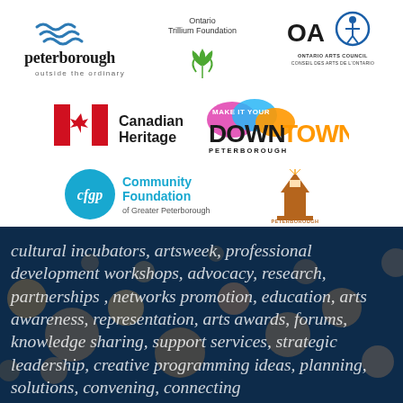[Figure (logo): Peterborough 'outside the ordinary' city logo with wave symbol]
[Figure (logo): Ontario Trillium Foundation logo with trillium flower]
[Figure (logo): Ontario Arts Council / Conseil des arts de l'Ontario logo with accessibility icon]
[Figure (logo): Canadian Heritage logo with maple leaf flag icon]
[Figure (logo): Make It Your Downtown Peterborough logo]
[Figure (logo): Community Foundation of Greater Peterborough (cfgp) logo]
[Figure (logo): Peterborough Foundation logo with lighthouse]
[Figure (photo): Dark blue bokeh background with white italic text listing arts and culture activities: cultural incubators, artsweek, professional development workshops, advocacy, research, partnerships, networks promotion, education, arts awareness, representation, arts awards, forums, knowledge sharing, support services, strategic leadership, creative programming ideas, planning, solutions, convening, connecting]